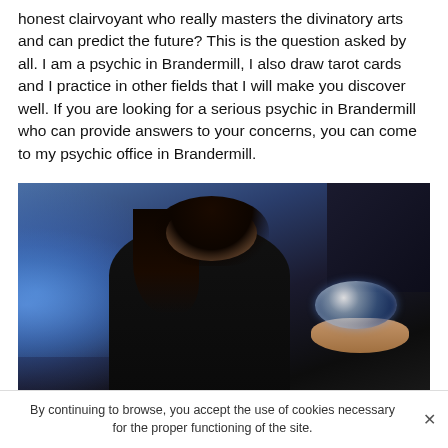honest clairvoyant who really masters the divinatory arts and can predict the future? This is the question asked by all. I am a psychic in Brandermill, I also draw tarot cards and I practice in other fields that I will make you discover well. If you are looking for a serious psychic in Brandermill who can provide answers to your concerns, you can come to my psychic office in Brandermill.
[Figure (photo): A dark-haired woman dressed in black holding a crystal ball up in one hand, surrounded by blue smoke/mist on a dark blue background, suggesting a psychic or clairvoyant theme.]
By continuing to browse, you accept the use of cookies necessary for the proper functioning of the site.